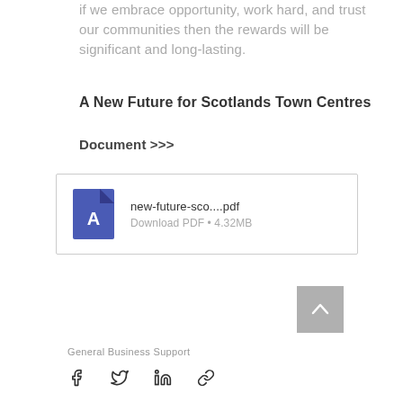if we embrace opportunity, work hard, and trust our communities then the rewards will be significant and long-lasting.
A New Future for Scotlands Town Centres
Document >>>
[Figure (other): PDF download box showing file 'new-future-sco....pdf', Download PDF • 4.32MB, with blue PDF icon]
[Figure (other): Grey scroll-to-top button with upward chevron arrow]
General Business Support
[Figure (other): Social share icons: Facebook, Twitter, LinkedIn, link/chain icon]